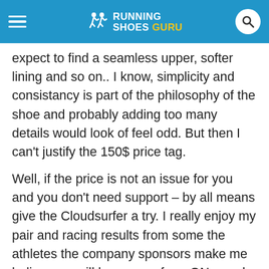RUNNING SHOES GURU
expect to find a seamless upper, softer lining and so on.. I know, simplicity and consistancy is part of the philosophy of the shoe and probably adding too many details would look of feel odd. But then I can't justify the 150$ price tag.
Well, if the price is not an issue for you and you don't need support – by all means give the Cloudsurfer a try. I really enjoy my pair and racing results from some the athletes the company sponsors make me believe we will hear more from ON – and we'll definitely be listening.
We thank the peple at ON for sending us a pair of Cloudsurfer to test. This did not influence the review of these shoes.